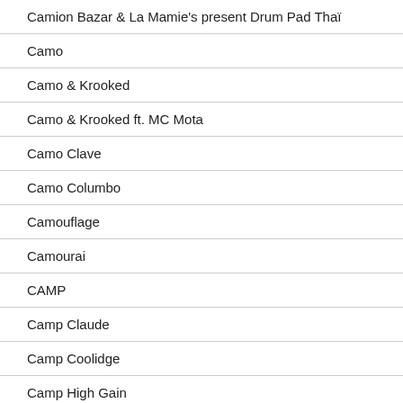Camion Bazar & La Mamie's present Drum Pad Thaï
Camo
Camo & Krooked
Camo & Krooked ft. MC Mota
Camo Clave
Camo Columbo
Camouflage
Camourai
CAMP
Camp Claude
Camp Coolidge
Camp High Gain
Camp Lo